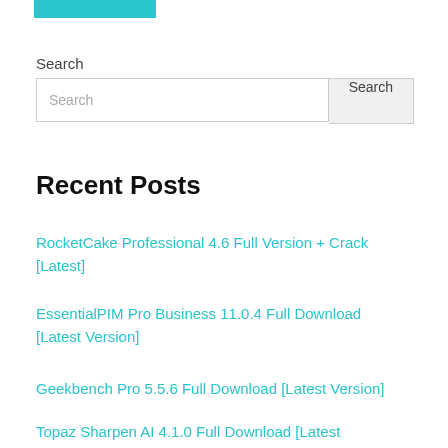[Figure (other): Teal/cyan colored horizontal bar at the top of the page]
Search
[Figure (screenshot): Search input box with placeholder text 'Search' and a 'Search' button]
Recent Posts
RocketCake Professional 4.6 Full Version + Crack [Latest]
EssentialPIM Pro Business 11.0.4 Full Download [Latest Version]
Geekbench Pro 5.5.6 Full Download [Latest Version]
Topaz Sharpen AI 4.1.0 Full Download [Latest